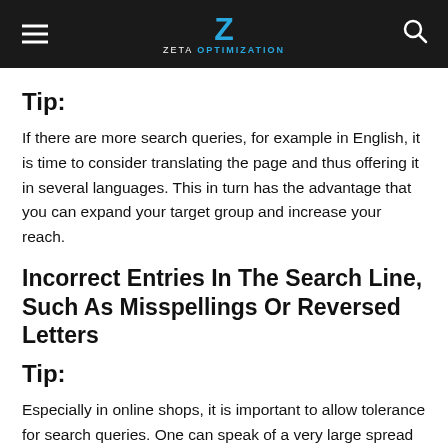ZETA OPTIMIZATION
Tip:
If there are more search queries, for example in English, it is time to consider translating the page and thus offering it in several languages. This in turn has the advantage that you can expand your target group and increase your reach.
Incorrect Entries In The Search Line, Such As Misspellings Or Reversed Letters
Tip:
Especially in online shops, it is important to allow tolerance for search queries. One can speak of a very large spread here; every now and then there are incorrect entries. It is therefore important to accept spelling errors and spellings that differ from